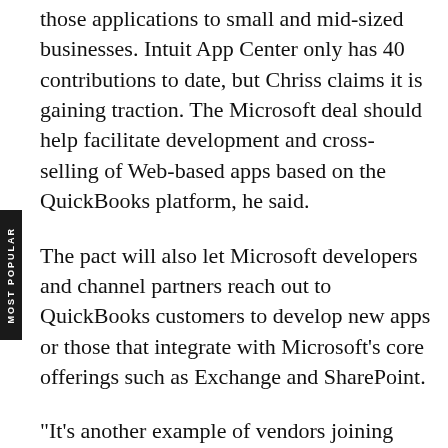those applications to small and mid-sized businesses. Intuit App Center only has 40 contributions to date, but Chriss claims it is gaining traction. The Microsoft deal should help facilitate development and cross-selling of Web-based apps based on the QuickBooks platform, he said.
The pact will also let Microsoft developers and channel partners reach out to QuickBooks customers to develop new apps or those that integrate with Microsoft's core offerings such as Exchange and SharePoint.
"It's another example of vendors joining forces to expand portfolios, capabilities, and provide more complete offerings," said Gartner analyst Tiffani Bova.
As part of the agreement, Microsoft made the beta